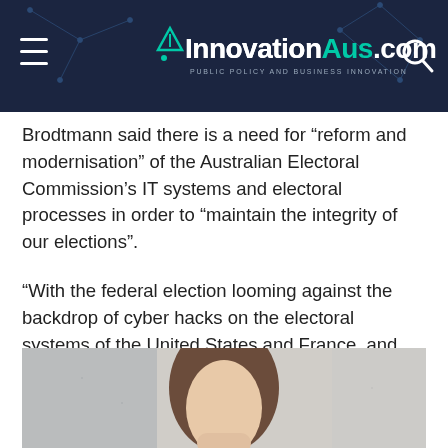InnovationAus.com — PUBLIC POLICY AND BUSINESS INNOVATION
Brodtmann said there is a need for “reform and modernisation” of the Australian Electoral Commission’s IT systems and electoral processes in order to “maintain the integrity of our elections”.
“With the federal election looming against the backdrop of cyber hacks on the electoral systems of the United States and France, and the DDoS attacks on the 2016 Census, I welcome this timely and important inquiry,” Ms Brodtmann said in the submission.
[Figure (photo): Partial photo of a person, visible from the chin down, with brown hair, appearing to be a professional headshot against a light background.]